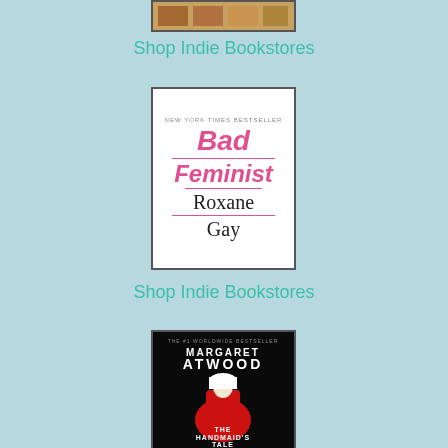[Figure (illustration): Partially visible book cover at top of page, cropped]
Shop Indie Bookstores
[Figure (illustration): Book cover of 'Bad Feminist' by Roxane Gay. White cover with pink italic title text and horizontal pink lines separating title from author name. Labeled 'New York Times Bestseller' at top.]
Shop Indie Bookstores
[Figure (illustration): Book cover of 'The Handmaid's Tale' by Margaret Atwood. Black background with figure in red cloak and white bonnet. Text: 'The #1 Worldwide Bestseller', 'Margaret Atwood', 'The Handmaid's Tale'.]